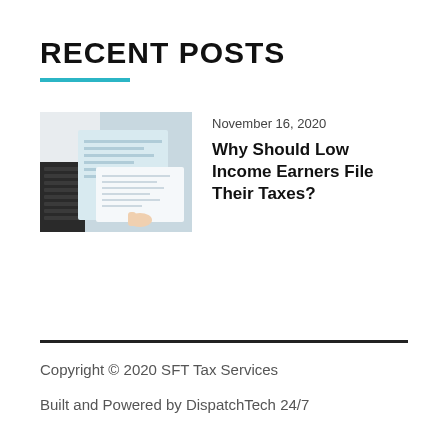RECENT POSTS
[Figure (photo): Person pointing at tax forms on a desk with a keyboard visible in the background]
November 16, 2020
Why Should Low Income Earners File Their Taxes?
Copyright © 2020 SFT Tax Services
Built and Powered by DispatchTech 24/7